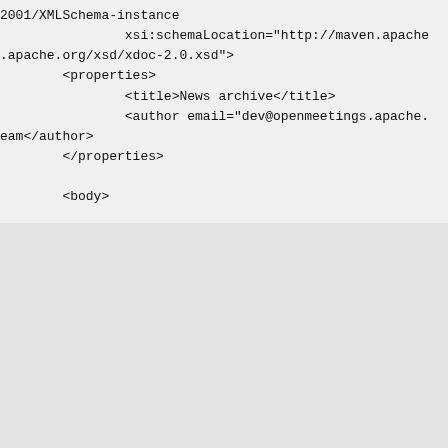2001/XMLSchema-instance
                xsi:schemaLocation="http://maven.apache
.apache.org/xsd/xdoc-2.0.xsd">
        <properties>
                <title>News archive</title>
                <author email="dev@openmeetings.apache.
eam</author>
        </properties>

        <body>